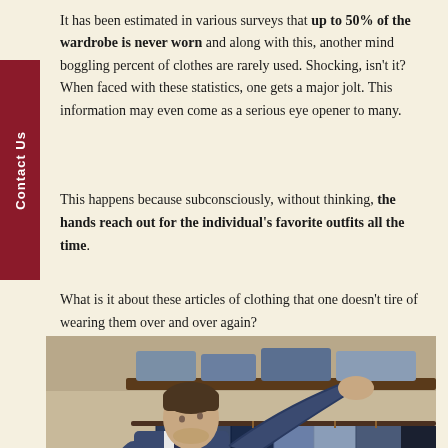It has been estimated in various surveys that up to 50% of the wardrobe is never worn and along with this, another mind boggling percent of clothes are rarely used. Shocking, isn't it? When faced with these statistics, one gets a major jolt. This information may even come as a serious eye opener to many.
This happens because subconsciously, without thinking, the hands reach out for the individual's favorite outfits all the time.
What is it about these articles of clothing that one doesn't tire of wearing them over and over again?
[Figure (photo): A well-dressed man in a blue suit reaching up to browse through clothes hanging on a rack in a wardrobe or closet. He is looking upward at shirts and suits on hangers.]